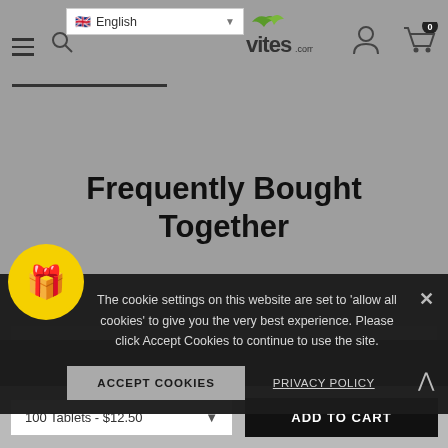[Figure (screenshot): E-commerce website header with hamburger menu, search icon, English language selector dropdown, Vites.com logo with green leaf, user account icon, and shopping cart icon with badge showing 0]
Frequently Bought Together
[Figure (screenshot): Cookie consent banner overlay with gift box emoji icon, close (X) button, up arrow button, cookie policy message text, Accept Cookies button, and Privacy Policy link]
[Figure (screenshot): Bottom bar with 100 Tablets - $12.50 dropdown selector and ADD TO CART black button]